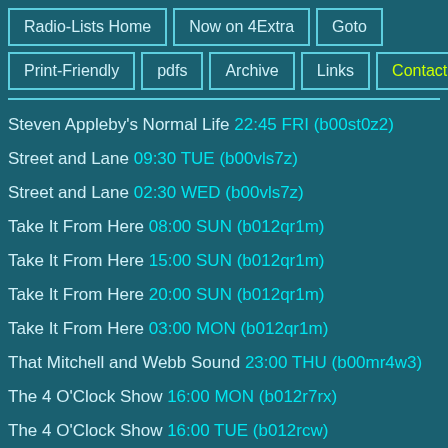Radio-Lists Home
Now on 4Extra
Goto
Print-Friendly
pdfs
Archive
Links
Contact
Steven Appleby's Normal Life 22:45 FRI (b00st0z2)
Street and Lane 09:30 TUE (b00vls7z)
Street and Lane 02:30 WED (b00vls7z)
Take It From Here 08:00 SUN (b012qr1m)
Take It From Here 15:00 SUN (b012qr1m)
Take It From Here 20:00 SUN (b012qr1m)
Take It From Here 03:00 MON (b012qr1m)
That Mitchell and Webb Sound 23:00 THU (b00mr4w3)
The 4 O'Clock Show 16:00 MON (b012r7rx)
The 4 O'Clock Show 16:00 TUE (b012rcw)